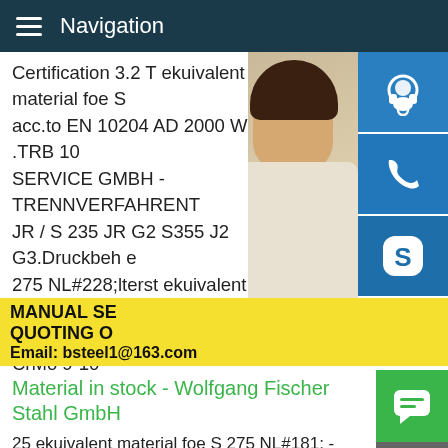Navigation
Certification 3.2 T ekuivalent material foe S acc.to EN 10204 AD 2000 W1/10 .TRB 10 SERVICE GMBH - TRENNVERFAHRENT JR / S 235 JR G2 S355 J2 G3.Druckbeh e 275 NL#228;lterst ekuivalent material foe S GH / 16 Mo 3 13 CrMo 4-5 / 10 CrMo 9-10 ekuivalent material foe S 275 NL#228;hle. P 355 NH P 355 NL 1 / P 460 NH / P 460 material foe S 275 NL#252;tungsst ekuiva NL#228;hle.C 45 / C 60 / 42 CR MO 4.Ein foe S 275 NL#228;hle.C 15 / 16 MN CR 5
[Figure (photo): Customer service representative woman with headset, with blue icon buttons for phone support, call, and Skype on the right side]
MANUAL SE QUOTING O Email: bsteel1@163.com
Material in stock - Wolfgang Fischer Stahl GmbH
25 ekuivalent material foe S 275 NL#181; - ral 9006 White aluminium S 320 GD + Z 275 / ZM 130MEsteel - Qualities